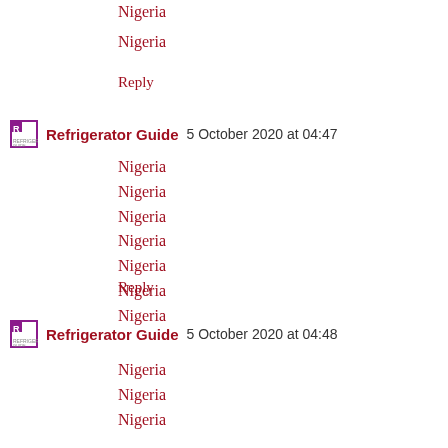Nigeria
Reply
Refrigerator Guide 5 October 2020 at 04:47
Nigeria
Nigeria
Nigeria
Nigeria
Nigeria
Nigeria
Nigeria
Reply
Refrigerator Guide 5 October 2020 at 04:48
Nigeria
Nigeria
Nigeria